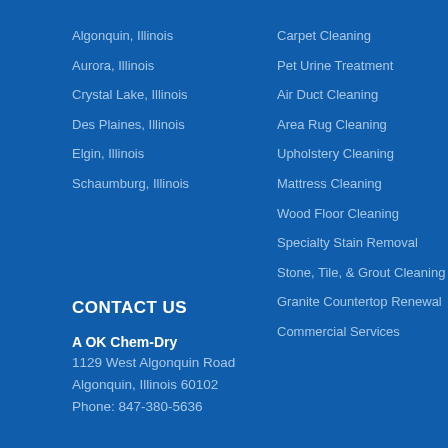Algonquin, Illinois
Aurora, Illinois
Crystal Lake, Illinois
Des Plaines, Illinois
Elgin, Illinois
Schaumburg, Illinois
Carpet Cleaning
Pet Urine Treatment
Air Duct Cleaning
Area Rug Cleaning
Upholstery Cleaning
Mattress Cleaning
Wood Floor Cleaning
Specialty Stain Removal
Stone, Tile, & Grout Cleaning
Granite Countertop Renewal
Commercial Services
CONTACT US
A OK Chem-Dry
1129 West Algonquin Road
Algonquin, Illinois 60102
Phone: 847-380-5636